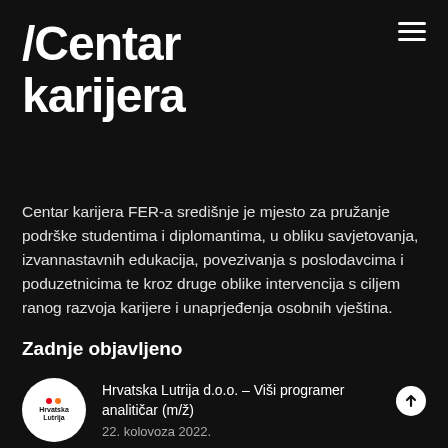/Centar karijera
Centar karijera FER-a središnje je mjesto za pružanje podrške studentima i diplomantima, u obliku savjetovanja, izvannastavnih edukacija, povezivanja s poslodavcima i poduzetnicima te kroz druge oblike intervencija s ciljem ranog razvoja karijere i unaprjeđenja osobnih vještina.
Zadnje objavljeno
Hrvatska Lutrija d.o.o. – Viši programer analitičar (m/ž)
22. kolovoza 2022.